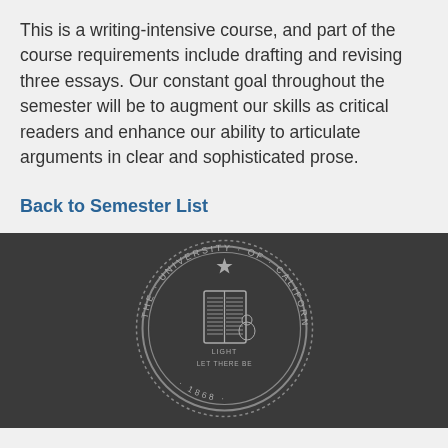This is a writing-intensive course, and part of the course requirements include drafting and revising three essays. Our constant goal throughout the semester will be to augment our skills as critical readers and enhance our ability to articulate arguments in clear and sophisticated prose.
Back to Semester List
[Figure (logo): University of California Berkeley seal in gray on dark background. Circular seal with text 'THE UNIVERSITY OF CALIFORNIA BERKELEY' and '1868' around the border, featuring an open book and star at the top.]